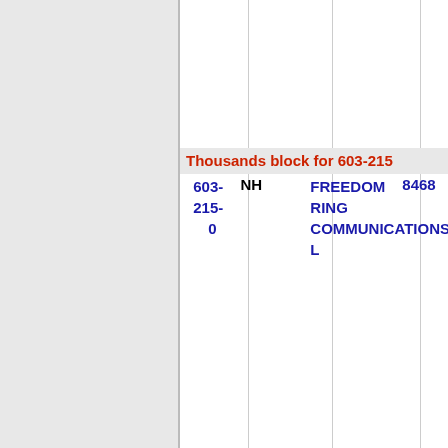| Number | State | Company | Code |
| --- | --- | --- | --- |
| 603-215-0 | NH | FREEDOM RING COMMUNICATIONS, L | 8468 |